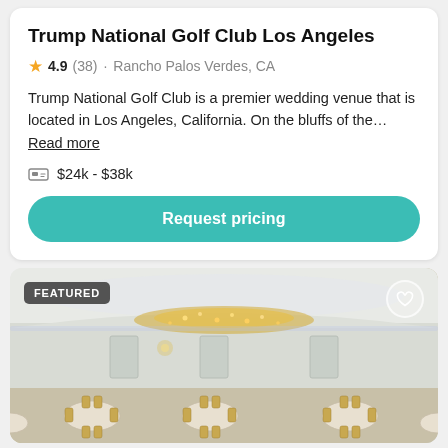Trump National Golf Club Los Angeles
4.9 (38) · Rancho Palos Verdes, CA
Trump National Golf Club is a premier wedding venue that is located in Los Angeles, California. On the bluffs of the… Read more
$24k - $38k
Request pricing
[Figure (photo): Interior photo of a ballroom with gold chandeliers, round tables set for a wedding reception with white linens and gold chiavari chairs, white walls with subtle lighting. 'FEATURED' badge in top-left corner, heart icon in top-right corner.]